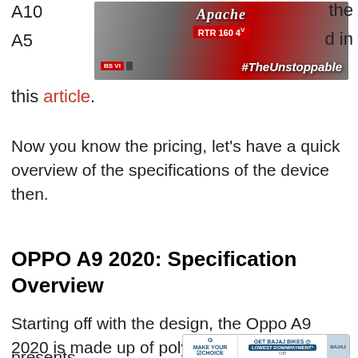A10 … the A5 … in this article.
[Figure (photo): Apache RTR 160 4V advertisement banner with motorcycle image and #TheUnstoppable tagline]
this article.
Now you know the pricing, let's have a quick overview of the specifications of the device then.
OPPO A9 2020: Specification Overview
Starting off with the design, the Oppo A9 2020 is made up of polycarbonate but still presents which makes it 2020 sports ar a 720 x
[Figure (photo): Bajaj bikes advertisement: Make Your Choice - Get Bajaj Bikes @ Lowest Downpayment* OR]